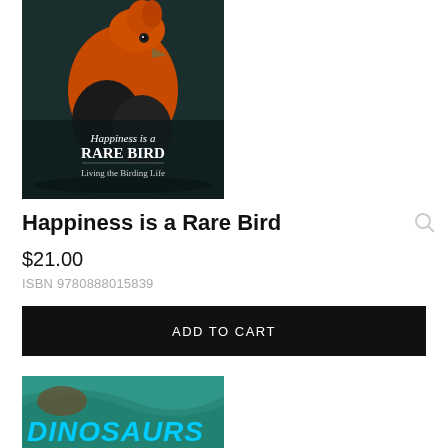[Figure (photo): Book cover of 'Happiness is a Rare Bird: Living the Birding Life' featuring an orange bird against a dark background]
Happiness is a Rare Bird
$21.00
ISBN 9780888015839
ADD TO CART
[Figure (photo): Partial view of a second book cover showing text 'DINOSAURS' with an ocean/wave scene]